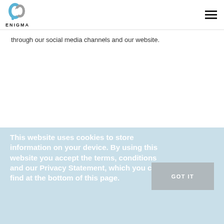[Figure (logo): Enigma logo: stylized 'g' letter in blue and gray with text ENIGMA below]
through our social media channels and our website.
This website uses cookies to store information on your device. By using this website you accept the terms, conditions and our Privacy Statement, which you can find at the bottom of this page.
GOT IT